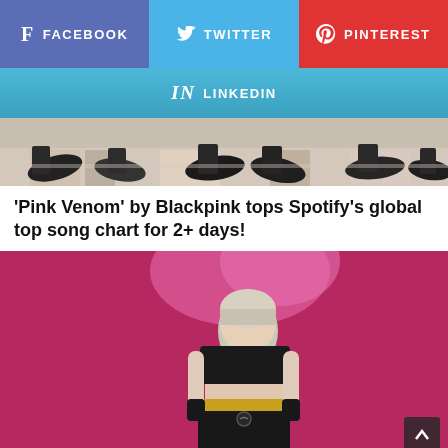[Figure (infographic): Social media share buttons: Facebook (purple-blue), Twitter (light blue), Pinterest (red), LinkedIn (blue gradient)]
[Figure (photo): Cropped photo showing feet/shoes of multiple people on a light-colored floor]
'Pink Venom' by Blackpink tops Spotify's global top song chart for 2+ days!
[Figure (photo): Person wearing black crop top and black shiny shorts with gold belt, lying or posing on a pink/magenta background with silver-blonde hair]